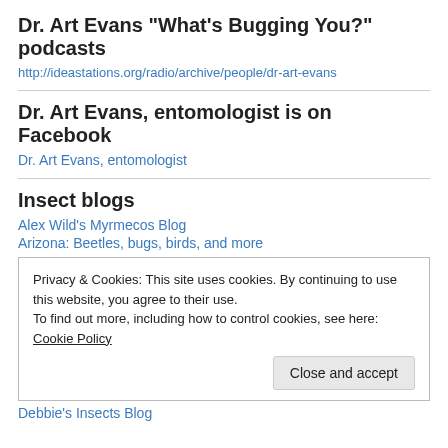Dr. Art Evans "What's Bugging You?" podcasts
http://ideastations.org/radio/archive/people/dr-art-evans
Dr. Art Evans, entomologist is on Facebook
Dr. Art Evans, entomologist
Insect blogs
Alex Wild's Myrmecos Blog
Arizona: Beetles, bugs, birds, and more
Privacy & Cookies: This site uses cookies. By continuing to use this website, you agree to their use. To find out more, including how to control cookies, see here: Cookie Policy
Close and accept
Debbie's Insects Blog